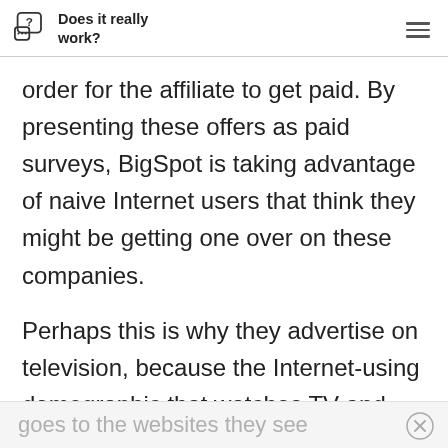Does it really work?
order for the affiliate to get paid. By presenting these offers as paid surveys, BigSpot is taking advantage of naive Internet users that think they might be getting one over on these companies.
Perhaps this is why they advertise on television, because the Internet-using demographic that watches TV and then
goes to the websites they see